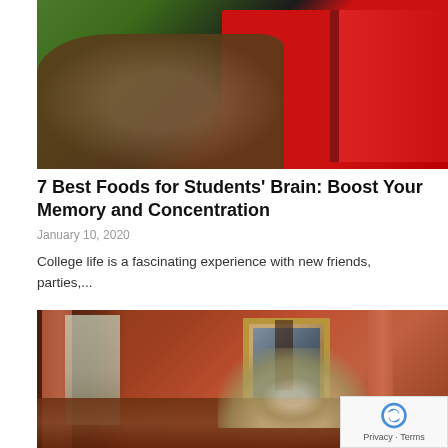[Figure (photo): Person holding an open red book/journal against a dark background, green sleeve visible on left hand]
7 Best Foods for Students' Brain: Boost Your Memory and Concentration
January 10, 2020
College life is a fascinating experience with new friends, parties,...
[Figure (photo): Interior of a vintage room with red/terracotta walls, gold curtains, a painting on the wall, dark wooden furniture, and floral arrangements on a table]